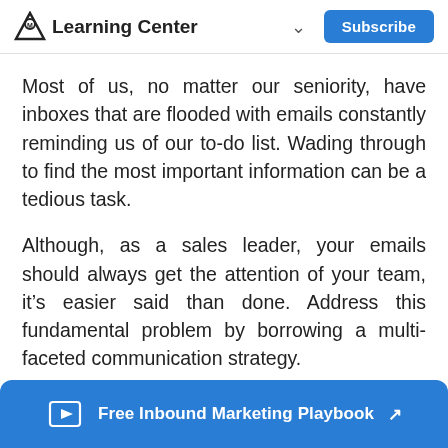Learning Center  ∨  Subscribe
Most of us, no matter our seniority, have inboxes that are flooded with emails constantly reminding us of our to-do list. Wading through to find the most important information can be a tedious task.
Although, as a sales leader, your emails should always get the attention of your team, it's easier said than done. Address this fundamental problem by borrowing a multi-faceted communication strategy.
When Nike launches a media campaign, they don't just do it with one television ad. They d…
Free Inbound Marketing Playbook ↗